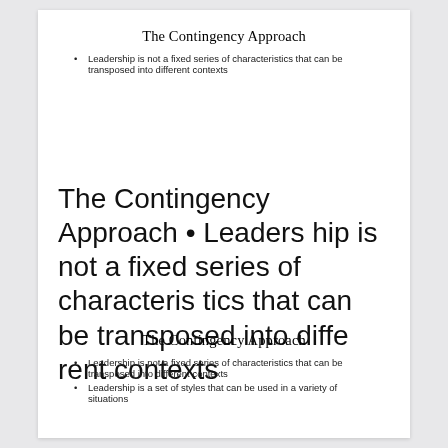The Contingency Approach
Leadership is not a fixed series of characteristics that can be transposed into different contexts
The Contingency Approach • Leadership is not a fixed series of characteristics that can be transposed into different contexts
The Contingency Approach
Leadership is not a fixed series of characteristics that can be transposed into different contexts
Leadership is a set of styles that can be used in a variety of situations